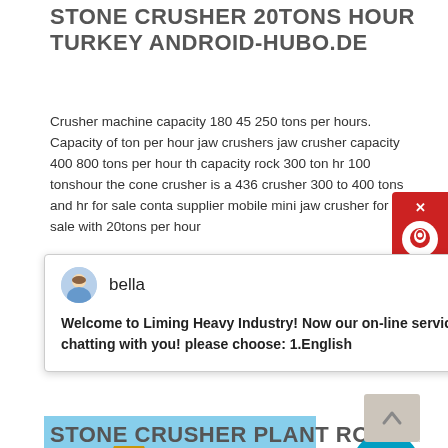STONE CRUSHER 20TONS HOUR TURKEY ANDROID-HUBO.DE
Crusher machine capacity 180 45 250 tons per hours. Capacity of ton per hour jaw crushers jaw crusher capacity 400 800 tons per hour th capacity rock 300 ton hr 100 tonshour the cone crusher is a 436 crusher 300 to 400 tons and hr for sale conta supplier mobile mini jaw crusher for sale with 20tons per hour
[Figure (screenshot): Chat popup from Liming Heavy Industry with avatar 'bella' and message: Welcome to Liming Heavy Industry! Now our on-line service is chatting with you! please choose: 1.English]
[Figure (photo): Stone crusher plant machinery on an outdoor site with blue sky background]
STONE CRUSHER PLANT ROBOSAND